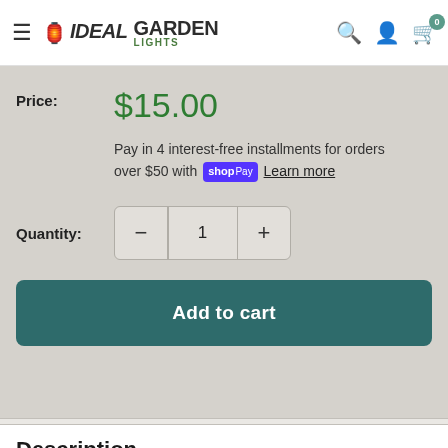Ideal Garden Lights — navigation header with search, account, and cart icons
Price: $15.00
Pay in 4 interest-free installments for orders over $50 with shop Pay Learn more
Quantity: 1
Add to cart
Description